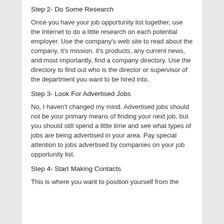Step 2- Do Some Research
Once you have your job opportunity list together, use the Internet to do a little research on each potential employer. Use the company's web site to read about the company, it's mission, it's products, any current news, and most importantly, find a company directory. Use the directory to find out who is the director or supervisor of the department you want to be hired into.
Step 3- Look For Advertised Jobs
No, I haven't changed my mind. Advertised jobs should not be your primary means of finding your next job, but you should still spend a little time and see what types of jobs are being advertised in your area. Pay special attention to jobs advertised by companies on your job opportunity list.
Step 4- Start Making Contacts
This is where you want to position yourself from the